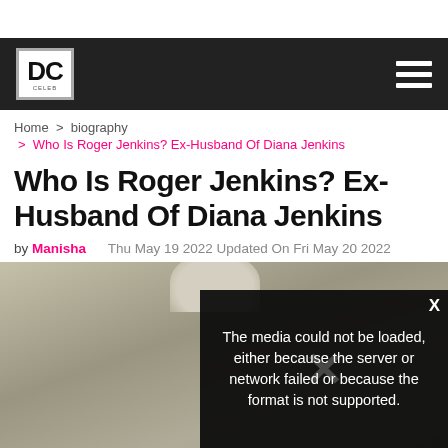DC
Home > biography > Who Is Roger Jenkins? Ex-Husband Of Diana Jenkins
Who Is Roger Jenkins? Ex-Husband Of Diana Jenkins
by Manisha   Thu May 19 2022 Updated On Fri May 20 2022
[Figure (photo): Image area with blurred background and a video error overlay reading: The media could not be loaded, either because the server or network failed or because the format is not supported.]